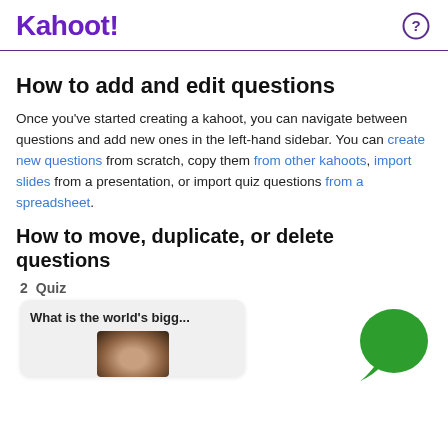Kahoot! [logo] [help icon]
How to add and edit questions
Once you've started creating a kahoot, you can navigate between questions and add new ones in the left-hand sidebar. You can create new questions from scratch, copy them from other kahoots, import slides from a presentation, or import quiz questions from a spreadsheet.
How to move, duplicate, or delete questions
[Figure (screenshot): Screenshot showing a quiz card labeled '2 Quiz' with the question 'What is the world's bigg...' and a partial image below it. A green chat bubble icon appears in the bottom right.]